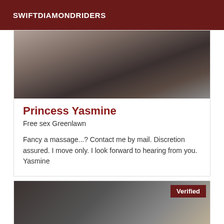SWIFTDIAMONDRIDERS
[Figure (photo): Blurred close-up photo, dark tones]
Princess Yasmine
Free sex Greenlawn
Fancy a massage...? Contact me by mail. Discretion assured. I move only. I look forward to hearing from you. Yasmine
[Figure (photo): Blurred photo of dark-haired person with Verified badge]